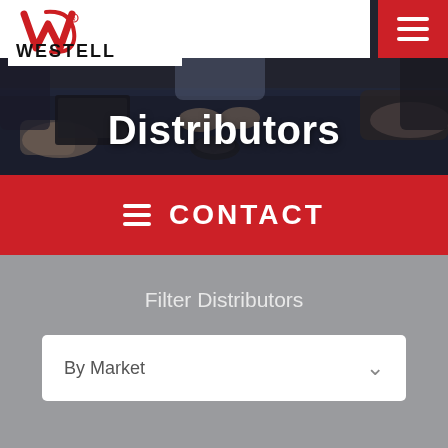[Figure (logo): Westell logo with stylized red W and WESTELL text in black]
[Figure (photo): Overhead photo of business people sitting around a conference table with laptops and phones, dark/moody tone with overlay]
Distributors
CONTACT
Filter Distributors
By Market